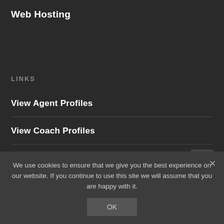Web Hosting
LINKS
View Agent Profiles
View Coach Profiles
View Overseas Photos
We use cookies to ensure that we give you the best experience on our website. If you continue to use this site we will assume that you are happy with it.
OK